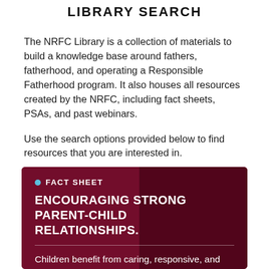LIBRARY SEARCH
The NRFC Library is a collection of materials to build a knowledge base around fathers, fatherhood, and operating a Responsible Fatherhood program. It also houses all resources created by the NRFC, including fact sheets, PSAs, and past webinars.
Use the search options provided below to find resources that you are interested in.
[Figure (infographic): Dark red card with a silhouette of a person in the background. Contains a teal dot label 'FACT SHEET', bold white uppercase title 'ENCOURAGING STRONG PARENT-CHILD RELATIONSHIPS.', a horizontal divider, and body text: 'Children benefit from caring, responsive, and stable relationships. A strong relationship with a parent promotes a child's development, learning, and increased school success. Relationships with']